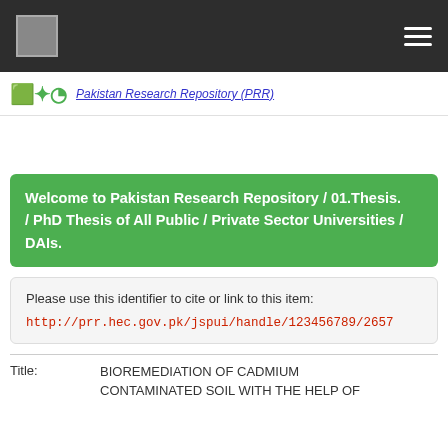[logo] [hamburger menu]
[Figure (logo): Pakistan Research Repository sub-header with green logo text and blue italic link text]
Welcome to Pakistan Research Repository  /  01.Thesis.  /  PhD Thesis of All Public / Private Sector Universities / DAIs.
Please use this identifier to cite or link to this item:
http://prr.hec.gov.pk/jspui/handle/123456789/2657
| Field | Value |
| --- | --- |
| Title: | BIOREMEDIATION OF CADMIUM CONTAMINATED SOIL WITH THE HELP OF |